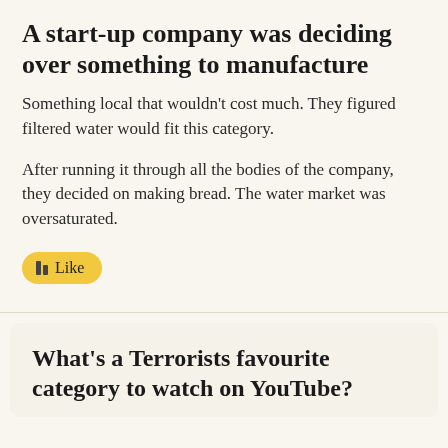A start-up company was deciding over something to manufacture
Something local that wouldn't cost much. They figured filtered water would fit this category.
After running it through all the bodies of the company, they decided on making bread. The water market was oversaturated.
[Figure (other): Yellow rounded Like button with thumbs up icon]
What's a Terrorists favourite category to watch on YouTube?